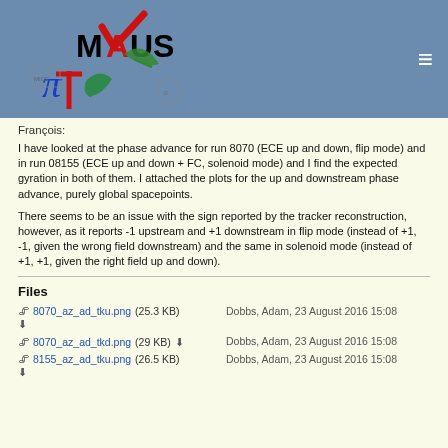MAUS
François:
I have looked at the phase advance for run 8070 (ECE up and down, flip mode) and in run 08155 (ECE up and down + FC, solenoid mode) and I find the expected gyration in both of them. I attached the plots for the up and downstream phase advance, purely global spacepoints.
There seems to be an issue with the sign reported by the tracker reconstruction, however, as it reports -1 upstream and +1 downstream in flip mode (instead of +1, -1, given the wrong field downstream) and the same in solenoid mode (instead of +1, +1, given the right field up and down).
Files
8070_az_ad_tku.png (25.3 KB) — Dobbs, Adam, 23 August 2016 15:08
8070_az_ad_tkd.png (29 KB) — Dobbs, Adam, 23 August 2016 15:08
8155_az_ad_tku.png (26.5 KB) — Dobbs, Adam, 23 August 2016 15:08